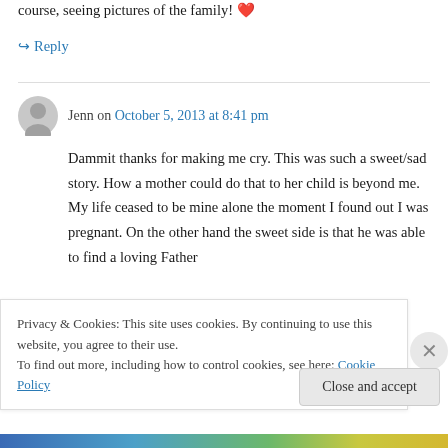course, seeing pictures of the family! ❤
↪ Reply
Jenn on October 5, 2013 at 8:41 pm
Dammit thanks for making me cry. This was such a sweet/sad story. How a mother could do that to her child is beyond me. My life ceased to be mine alone the moment I found out I was pregnant. On the other hand the sweet side is that he was able to find a loving Father
Privacy & Cookies: This site uses cookies. By continuing to use this website, you agree to their use.
To find out more, including how to control cookies, see here: Cookie Policy
Close and accept